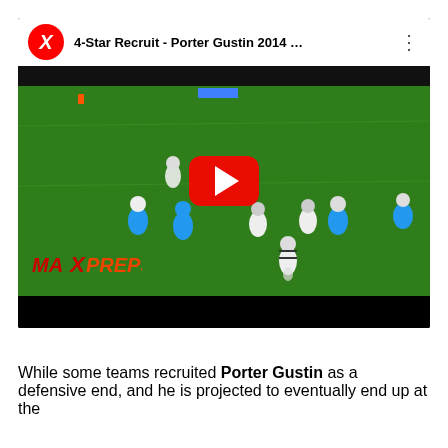[Figure (screenshot): YouTube video embed showing a football game with players on a green field. Video title reads '4-Star Recruit - Porter Gustin 2014 …' with a MaxPreps logo in the lower left. A red YouTube play button is overlaid in the center.]
While some teams recruited Porter Gustin as a defensive end, and he is projected to eventually end up at the